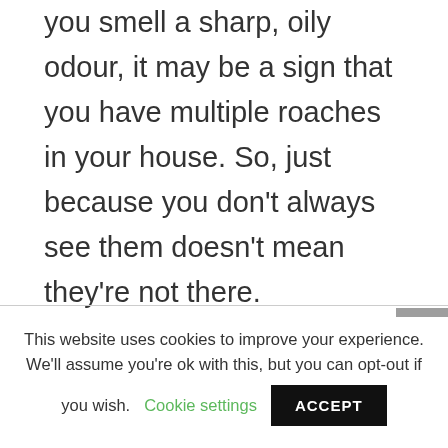you smell a sharp, oily odour, it may be a sign that you have multiple roaches in your house. So, just because you don't always see them doesn't mean they're not there. Unfortunately, people tend to only react to visual appearances, but that leaves you susceptible to the risks of living among bacteria-carrying insects.
This website uses cookies to improve your experience. We'll assume you're ok with this, but you can opt-out if you wish. Cookie settings ACCEPT